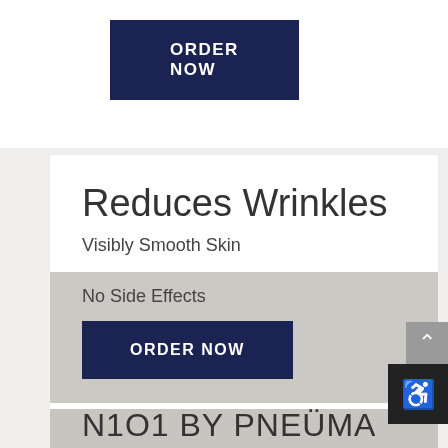[Figure (screenshot): Dark navy blue ORDER NOW button at the top of the page]
Reduces Wrinkles
Visibly Smooth Skin
No Side Effects
[Figure (screenshot): Dark navy blue ORDER NOW button in the gray card section]
N1O1 BY PNEUMA